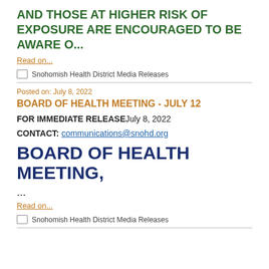AND THOSE AT HIGHER RISK OF EXPOSURE ARE ENCOURAGED TO BE AWARE O...
Read on...
Snohomish Health District Media Releases
Posted on: July 8, 2022
BOARD OF HEALTH MEETING - JULY 12
FOR IMMEDIATE RELEASEJuly 8, 2022
CONTACT:  communications@snohd.org
BOARD OF HEALTH MEETING,
...
Read on...
Snohomish Health District Media Releases